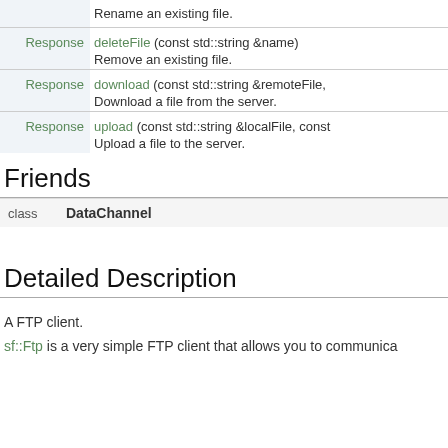| Return | Function | Description |
| --- | --- | --- |
| Response | deleteFile (const std::string &name) | Remove an existing file. |
| Response | download (const std::string &remoteFile, | Download a file from the server. |
| Response | upload (const std::string &localFile, const | Upload a file to the server. |
Friends
| class | DataChannel |
| --- | --- |
Detailed Description
A FTP client.
sf::Ftp is a very simple FTP client that allows you to communica